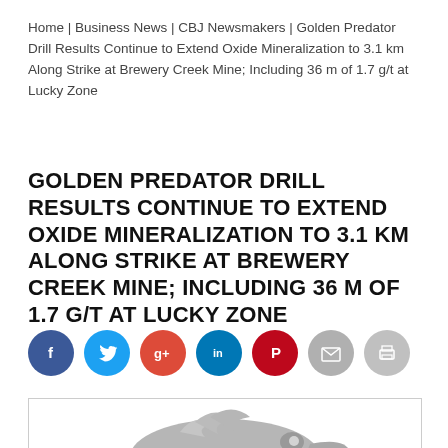Home | Business News | CBJ Newsmakers | Golden Predator Drill Results Continue to Extend Oxide Mineralization to 3.1 km Along Strike at Brewery Creek Mine; Including 36 m of 1.7 g/t at Lucky Zone
GOLDEN PREDATOR DRILL RESULTS CONTINUE TO EXTEND OXIDE MINERALIZATION TO 3.1 KM ALONG STRIKE AT BREWERY CREEK MINE; INCLUDING 36 M OF 1.7 G/T AT LUCKY ZONE
[Figure (infographic): Row of social media share buttons: Facebook (blue), Twitter (light blue), Google+ (red-orange), LinkedIn (blue), Pinterest (dark red), Email (grey), Print (grey)]
[Figure (logo): Golden Predator eagle logo — grey eagle head silhouette on white background inside a bordered box, partially cropped at bottom of page]